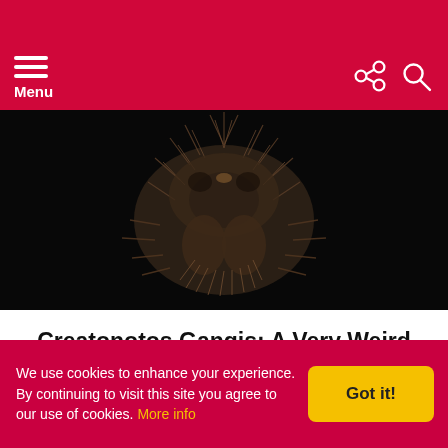Menu
[Figure (photo): Close-up photograph of a large hairy spider (likely tarantula) against a dark black background, showing detailed fur-like hairs on its body and legs.]
Creatonotos Gangis: A Very Weird Insect (With Video)
We use cookies to enhance your experience. By continuing to visit this site you agree to our use of cookies. More info